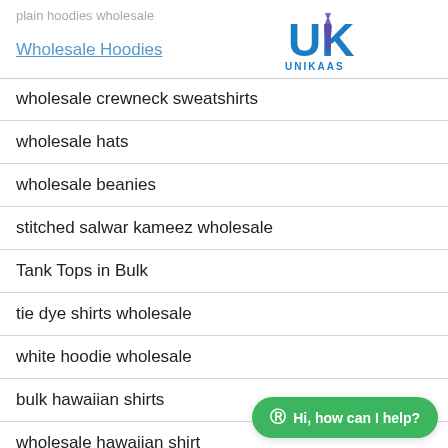plain hoodies wholesale
Wholesale Hoodies
[Figure (logo): UNIKAAS logo with blue stylized letters and a tie graphic]
wholesale crewneck sweatshirts
wholesale hats
wholesale beanies
stitched salwar kameez wholesale
Tank Tops in Bulk
tie dye shirts wholesale
white hoodie wholesale
bulk hawaiian shirts
wholesale hawaiian shirt